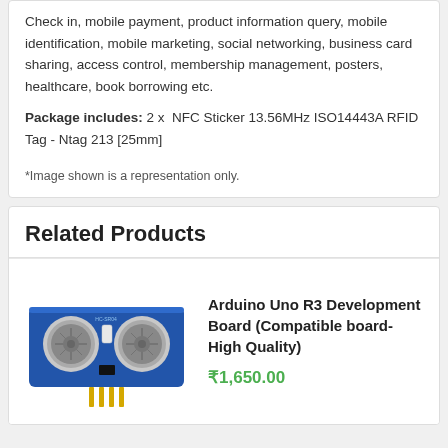Check in, mobile payment, product information query, mobile identification, mobile marketing, social networking, business card sharing, access control, membership management, posters, healthcare, book borrowing etc.
Package includes: 2 x  NFC Sticker 13.56MHz ISO14443A RFID Tag - Ntag 213 [25mm]
*Image shown is a representation only.
Related Products
[Figure (photo): Photo of an ultrasonic sensor module (HC-SR04 type) - blue PCB with two cylindrical transducers]
Arduino Uno R3 Development Board (Compatible board- High Quality)
₹1,650.00